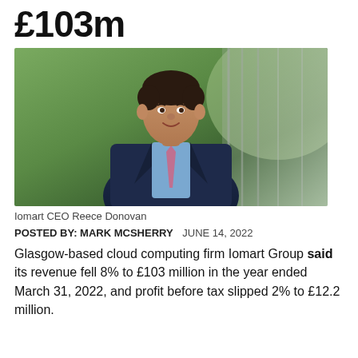£103m
[Figure (photo): Portrait photo of Iomart CEO Reece Donovan, a middle-aged man in a dark navy suit with a pink/mauve tie, smiling, with a green outdoor background]
Iomart CEO Reece Donovan
POSTED BY: MARK MCSHERRY   JUNE 14, 2022
Glasgow-based cloud computing firm Iomart Group said its revenue fell 8% to £103 million in the year ended March 31, 2022, and profit before tax slipped 2% to £12.2 million.